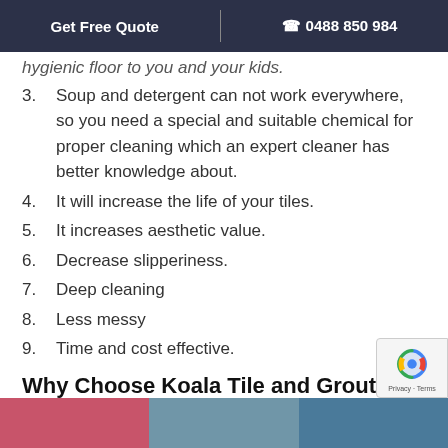Get Free Quote | 0488 850 984
hygienic floor to you and your kids.
3. Soup and detergent can not work everywhere, so you need a special and suitable chemical for proper cleaning which an expert cleaner has better knowledge about.
4. It will increase the life of your tiles.
5. It increases aesthetic value.
6. Decrease slipperiness.
7. Deep cleaning
8. Less messy
9. Time and cost effective.
Why Choose Koala Tile and Grout Cleaning in Warragul South?